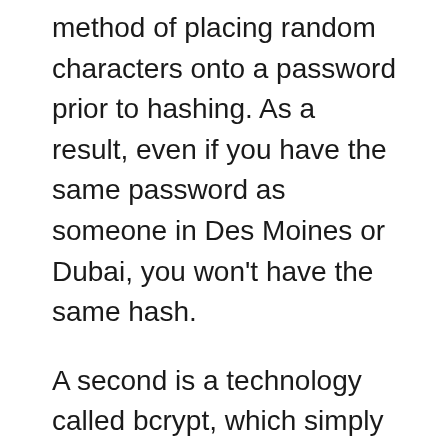method of placing random characters onto a password prior to hashing. As a result, even if you have the same password as someone in Des Moines or Dubai, you won't have the same hash.
A second is a technology called bcrypt, which simply adds micro-fractions of seconds to the time it takes to enact both dictionary and brute force attacks. These attacks take place with astounding rapidity, but bcrypt shows it down.
The slow-down business strategy means